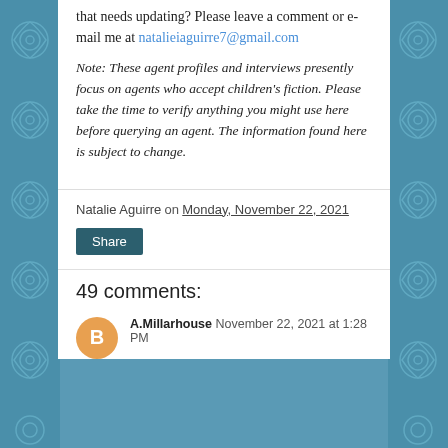that needs updating? Please leave a comment or e-mail me at natalieiaguirre7@gmail.com
Note: These agent profiles and interviews presently focus on agents who accept children's fiction. Please take the time to verify anything you might use here before querying an agent. The information found here is subject to change.
Natalie Aguirre on Monday, November 22, 2021
Share
49 comments:
A.Millarhouse November 22, 2021 at 1:28 PM